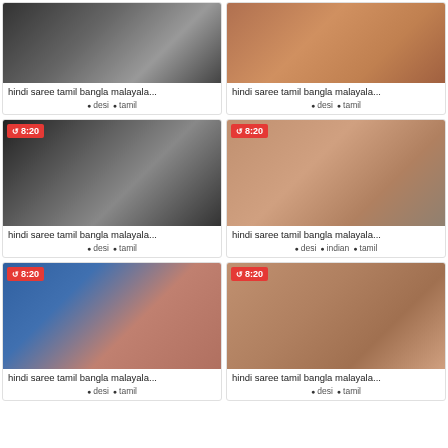[Figure (photo): Video thumbnail 1 - dark tones]
hindi saree tamil bangla malayala...
● desi  ● tamil
[Figure (photo): Video thumbnail 2 - warm skin tones]
hindi saree tamil bangla malayala...
● desi  ● tamil
[Figure (photo): Video thumbnail 3 - dark tones, 8:20 badge]
hindi saree tamil bangla malayala...
● desi  ● tamil
[Figure (photo): Video thumbnail 4 - warm tones, 8:20 badge]
hindi saree tamil bangla malayala...
● desi  ● indian  ● tamil
[Figure (photo): Video thumbnail 5 - blue background, woman smiling, 8:20 badge]
hindi saree tamil bangla malayala...
● desi  ● tamil
[Figure (photo): Video thumbnail 6 - warm skin tones, 8:20 badge]
hindi saree tamil bangla malayala...
● desi  ● tamil